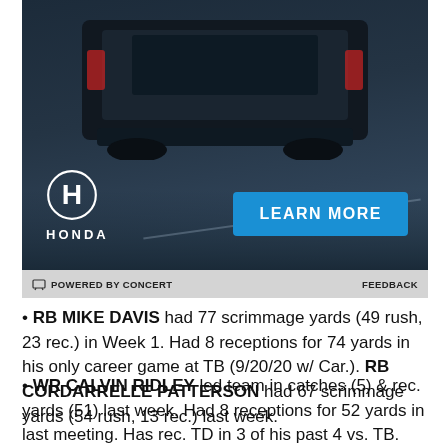[Figure (photo): Honda advertisement banner showing a dark SUV/vehicle from behind on a road at night, with Honda logo and a blue 'LEARN MORE' button. Footer bar reads 'POWERED BY CONCERT' and 'FEEDBACK'.]
RB MIKE DAVIS had 77 scrimmage yards (49 rush, 23 rec.) in Week 1. Had 8 receptions for 74 yards in his only career game at TB (9/20/20 w/ Car.). RB CORDARRELLE PATTERSON had 67 scrimmage yards (54 rush, 13 rec.) last week.
WR CALVIN RIDLEY led team in catches (5) & rec. yards (51) last week. Had 8 receptions for 52 yards in last meeting. Has rec. TD in 3 of his past 4 vs. TB. Has 5+ receptions in 9 of his past 10 vs. NFC South. WR RUSSELL GAGE had 9 receptions, 102 scrimmage